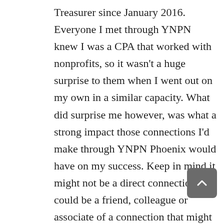Treasurer since January 2016. Everyone I met through YNPN knew I was a CPA that worked with nonprofits, so it wasn't a huge surprise to them when I went out on my own in a similar capacity. What did surprise me however, was what a strong impact those connections I'd make through YNPN Phoenix would have on my success. Keep in mind it might not be a direct connection, but could be a friend, colleague or associate of a connection that might lead to referrals, sales, etc. The connections I've made through YNPN Phoenix have impacted my budding business significantly, and it's all because someone knew someone who knew me. Take the time, network and make meaningful connections. It won't happen overnight, but when it does happen, it will be great.